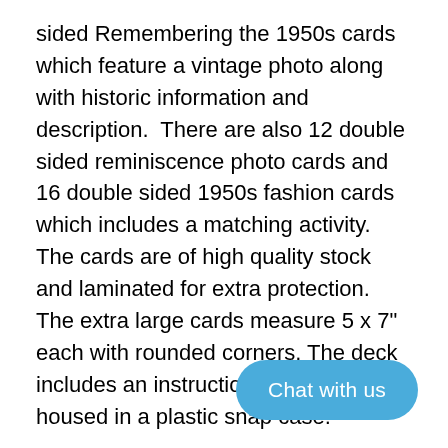sided Remembering the 1950s cards which feature a vintage photo along with historic information and description.  There are also 12 double sided reminiscence photo cards and 16 double sided 1950s fashion cards which includes a matching activity.  The cards are of high quality stock and laminated for extra protection. The extra large cards measure 5 x 7" each with rounded corners. The deck includes an instruction card and is housed in a plastic snap case.
1950s Menus and Memories Booklet
This 24 page collection of mementos is a great conversation starter.  It includes reproduction menus from the 1950s some of which are barbeque breakfast café, and burgers at a drive-  tic receipts and artifacts we highlight sweet and salty treats.